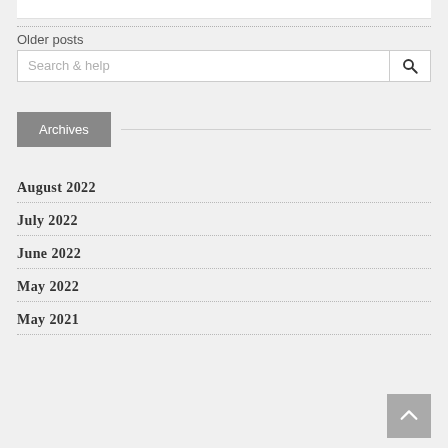Older posts
Search & help
Archives
August 2022
July 2022
June 2022
May 2022
May 2021